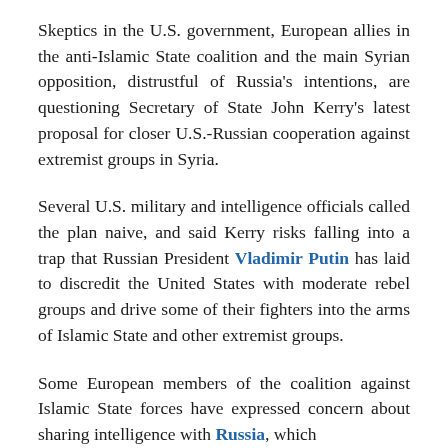Skeptics in the U.S. government, European allies in the anti-Islamic State coalition and the main Syrian opposition, distrustful of Russia's intentions, are questioning Secretary of State John Kerry's latest proposal for closer U.S.-Russian cooperation against extremist groups in Syria.
Several U.S. military and intelligence officials called the plan naive, and said Kerry risks falling into a trap that Russian President Vladimir Putin has laid to discredit the United States with moderate rebel groups and drive some of their fighters into the arms of Islamic State and other extremist groups.
Some European members of the coalition against Islamic State forces have expressed concern about sharing intelligence with Russia, which